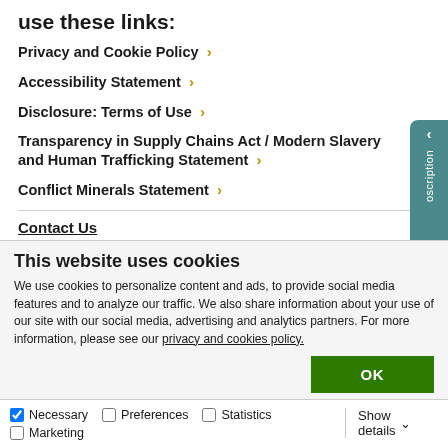use these links:
Privacy and Cookie Policy >
Accessibility Statement >
Disclosure: Terms of Use >
Transparency in Supply Chains Act / Modern Slavery and Human Trafficking Statement >
Conflict Minerals Statement >
Contact Us
This website uses cookies
We use cookies to personalize content and ads, to provide social media features and to analyze our traffic. We also share information about your use of our site with our social media, advertising and analytics partners. For more information, please see our privacy and cookies policy.
OK
Necessary  Preferences  Statistics  Marketing  Show details